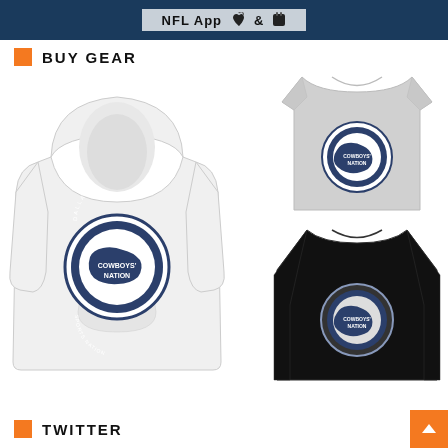[Figure (screenshot): NFL App banner with dark blue background and 'NFL App' text with Apple and Android icons]
BUY GEAR
[Figure (photo): White Dallas Cowboys Nation hoodie with circular badge logo]
[Figure (photo): Light gray Dallas Cowboys Nation t-shirt with circular badge logo]
[Figure (photo): Black Dallas Cowboys Nation long-sleeve shirt with circular badge logo]
TWITTER